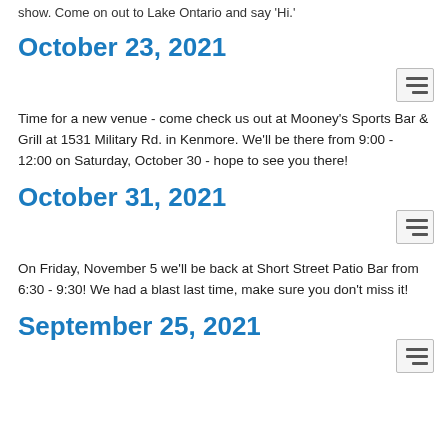show. Come on out to Lake Ontario and say 'Hi.'
October 23, 2021
Time for a new venue - come check us out at Mooney's Sports Bar & Grill at 1531 Military Rd. in Kenmore. We'll be there from 9:00 - 12:00 on Saturday, October 30 - hope to see you there!
October 31, 2021
On Friday, November 5 we'll be back at Short Street Patio Bar from 6:30 - 9:30! We had a blast last time, make sure you don't miss it!
September 25, 2021